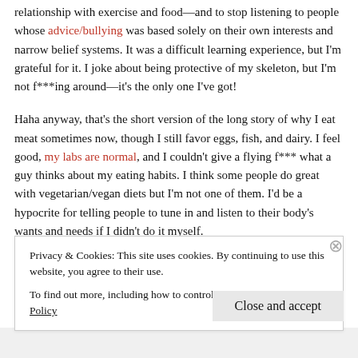relationship with exercise and food—and to stop listening to people whose advice/bullying was based solely on their own interests and narrow belief systems. It was a difficult learning experience, but I'm grateful for it. I joke about being protective of my skeleton, but I'm not f***ing around—it's the only one I've got!
Haha anyway, that's the short version of the long story of why I eat meat sometimes now, though I still favor eggs, fish, and dairy. I feel good, my labs are normal, and I couldn't give a flying f*** what a guy thinks about my eating habits. I think some people do great with vegetarian/vegan diets but I'm not one of them. I'd be a hypocrite for telling people to tune in and listen to their body's wants and needs if I didn't do it myself.
Privacy & Cookies: This site uses cookies. By continuing to use this website, you agree to their use.
To find out more, including how to control cookies, see here: Cookie Policy